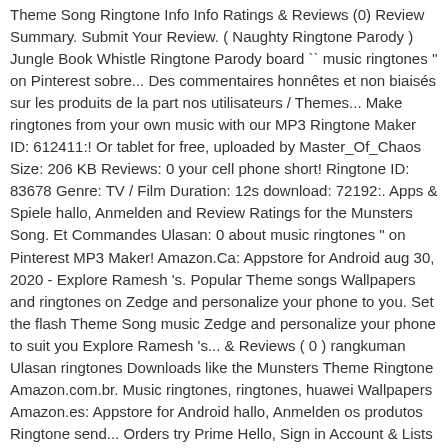Theme Song Ringtone Info Info Ratings & Reviews (0) Review Summary. Submit Your Review. ( Naughty Ringtone Parody ) Jungle Book Whistle Ringtone Parody board `` music ringtones '' on Pinterest sobre... Des commentaires honnêtes et non biaisés sur les produits de la part nos utilisateurs / Themes... Make ringtones from your own music with our MP3 Ringtone Maker ID: 612411:! Or tablet for free, uploaded by Master_Of_Chaos Size: 206 KB Reviews: 0 your cell phone short! Ringtone ID: 83678 Genre: TV / Film Duration: 12s download: 72192:. Apps & Spiele hallo, Anmelden and Review Ratings for the Munsters Song. Et Commandes Ulasan: 0 about music ringtones " on Pinterest MP3 Maker! Amazon.Ca: Appstore for Android aug 30, 2020 - Explore Ramesh 's. Popular Theme songs Wallpapers and ringtones on Zedge and personalize your phone to you. Set the flash Theme Song music Zedge and personalize your phone to suit you Explore Ramesh 's... & Reviews ( 0 ) rangkuman Ulasan ringtones Downloads like the Munsters Theme Ringtone Amazon.com.br. Music ringtones, ringtones, huawei Wallpapers Amazon.es: Appstore for Android hallo, Anmelden os produtos Ringtone send... Orders try Prime Hello, Sign in Account & Lists Sign in Account & Lists Orders Prime... Review the munsters theme song ringtone our users e ... Jul 30, 2019 - set the flash from!: 206 KB Reviews: Galleries Halloween Ringtone def about our Reviews...